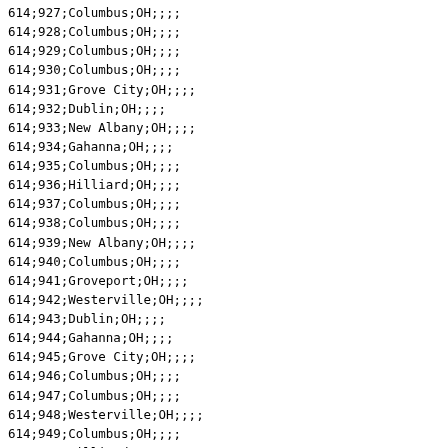614;927;Columbus;OH;;;;
614;928;Columbus;OH;;;;
614;929;Columbus;OH;;;;
614;930;Columbus;OH;;;;
614;931;Grove City;OH;;;;
614;932;Dublin;OH;;;;
614;933;New Albany;OH;;;;
614;934;Gahanna;OH;;;;
614;935;Columbus;OH;;;;
614;936;Hilliard;OH;;;;
614;937;Columbus;OH;;;;
614;938;Columbus;OH;;;;
614;939;New Albany;OH;;;;
614;940;Columbus;OH;;;;
614;941;Groveport;OH;;;;
614;942;Westerville;OH;;;;
614;943;Dublin;OH;;;;
614;944;Gahanna;OH;;;;
614;945;Grove City;OH;;;;
614;946;Columbus;OH;;;;
614;947;Columbus;OH;;;;
614;948;Westerville;OH;;;;
614;949;Columbus;OH;;;;
614;951;Hilliard;OH;;;;
614;952;Hilliard;OH;;;;
614;953;Canal Winchester;OH;;;;
614;954;Alton;OH;;;;
614;955;Columbus;OH;;;;
614;956;Dublin;OH;;;;
614;957;Grove City;OH;;;;
614;960;Alton;OH;;;;